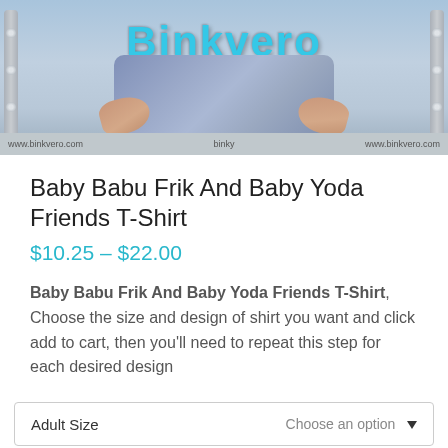[Figure (photo): Product banner image showing a person wearing jeans with the Binkvero brand logo overlaid in teal text, website URLs visible at the bottom]
Baby Babu Frik And Baby Yoda Friends T-Shirt
$10.25 – $22.00
Baby Babu Frik And Baby Yoda Friends T-Shirt, Choose the size and design of shirt you want and click add to cart, then you'll need to repeat this step for each desired design
| Adult Size | Choose an option |
| --- | --- |